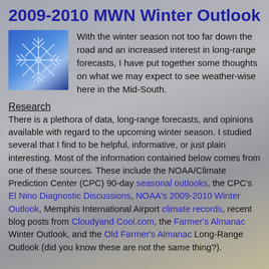2009-2010 MWN Winter Outlook
[Figure (illustration): Snowflake/ice crystal image on blue background]
With the winter season not too far down the road and an increased interest in long-range forecasts, I have put together some thoughts on what we may expect to see weather-wise here in the Mid-South.
Research
There is a plethora of data, long-range forecasts, and opinions available with regard to the upcoming winter season. I studied several that I find to be helpful, informative, or just plain interesting. Most of the information contained below comes from one of these sources. These include the NOAA/Climate Prediction Center (CPC) 90-day seasonal outlooks, the CPC's El Nino Diagnostic Discussions, NOAA's 2009-2010 Winter Outlook, Memphis International Airport climate records, recent blog posts from Cloudyand Cool.com, the Farmer's Almanac Winter Outlook, and the Old Farmer's Almanac Long-Range Outlook (did you know these are not the same thing?).